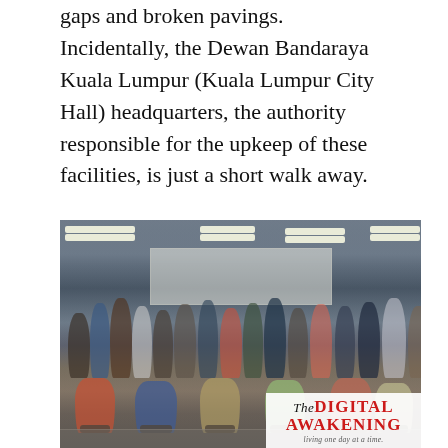gaps and broken pavings. Incidentally, the Dewan Bandaraya Kuala Lumpur (Kuala Lumpur City Hall) headquarters, the authority responsible for the upkeep of these facilities, is just a short walk away.
[Figure (photo): Group photo of approximately 30 people in a conference room, including several individuals in wheelchairs in the front row. The image has a 'The DIGITAL AWAKENING - living one day at a time.' watermark/logo in the bottom right corner.]